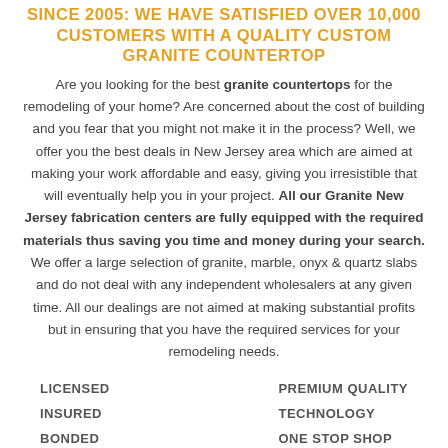SINCE 2005: WE HAVE SATISFIED OVER 10,000 CUSTOMERS WITH A QUALITY CUSTOM GRANITE COUNTERTOP
Are you looking for the best granite countertops for the remodeling of your home? Are concerned about the cost of building and you fear that you might not make it in the process? Well, we offer you the best deals in New Jersey area which are aimed at making your work affordable and easy, giving you irresistible that will eventually help you in your project. All our Granite New Jersey fabrication centers are fully equipped with the required materials thus saving you time and money during your search. We offer a large selection of granite, marble, onyx & quartz slabs and do not deal with any independent wholesalers at any given time. All our dealings are not aimed at making substantial profits but in ensuring that you have the required services for your remodeling needs.
LICENSED
INSURED
BONDED
PREMIUM QUALITY
TECHNOLOGY
ONE STOP SHOP